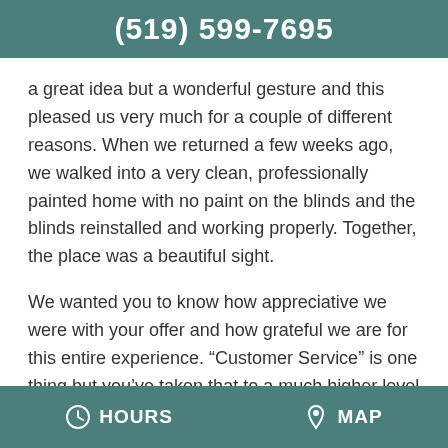(519) 599-7695
a great idea but a wonderful gesture and this pleased us very much for a couple of different reasons. When we returned a few weeks ago, we walked into a very clean, professionally painted home with no paint on the blinds and the blinds reinstalled and working properly. Together, the place was a beautiful sight.
We wanted you to know how appreciative we were with your offer and how grateful we are for this entire experience. “Customer Service” is one thing but you’ve taken that to a much higher level of “Customer Satisfaction.”
HOURS   MAP